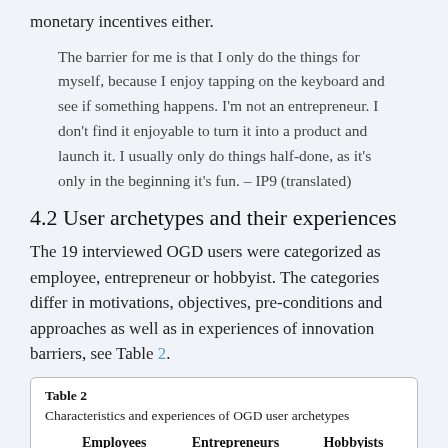monetary incentives either.
The barrier for me is that I only do the things for myself, because I enjoy tapping on the keyboard and see if something happens. I'm not an entrepreneur. I don't find it enjoyable to turn it into a product and launch it. I usually only do things half-done, as it's only in the beginning it's fun. – IP9 (translated)
4.2 User archetypes and their experiences
The 19 interviewed OGD users were categorized as employee, entrepreneur or hobbyist. The categories differ in motivations, objectives, pre-conditions and approaches as well as in experiences of innovation barriers, see Table 2.
Table 2
Characteristics and experiences of OGD user archetypes
|  | Employees | Entrepreneurs | Hobbyists |
| --- | --- | --- | --- |